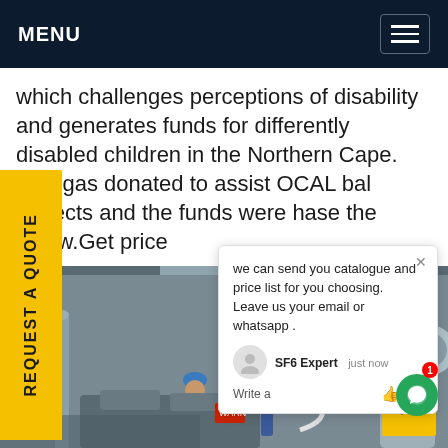MENU
which challenges perceptions of disability and generates funds for differently disabled children in the Northern Cape. Puregas donated to assist OCAL bal projects and the funds were hase the below.Get price
REQUEST A QUOTE
[Figure (photo): Two industrial workers in blue hard hats and coveralls working on large industrial gas equipment and piping in a facility]
we can send you catalogue and price list for you choosing. Leave us your email or whatsapp .
SF6 Expert   just now
Write a